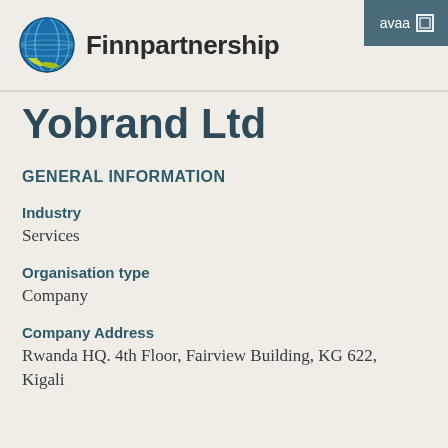[Figure (logo): Finnpartnership logo: globe icon in blue and yellow-green with company name 'Finnpartnership' in bold sans-serif]
avaa
Yobrand Ltd
GENERAL INFORMATION
Industry
Services
Organisation type
Company
Company Address
Rwanda HQ. 4th Floor, Fairview Building, KG 622,
Kigali